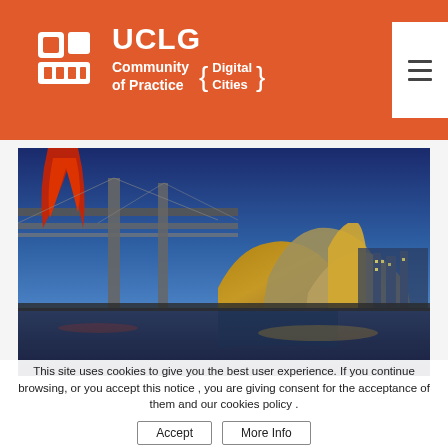[Figure (logo): UCLG Community of Practice Digital Cities logo on orange background with hamburger menu button]
[Figure (photo): Night/dusk panoramic photo of Bilbao, Spain, showing the Guggenheim Museum and a bridge reflected in the river, with a red sculpture on the left]
This site uses cookies to give you the best user experience. If you continue browsing, or you accept this notice , you are giving consent for the acceptance of them and our cookies policy .
Accept
More Info